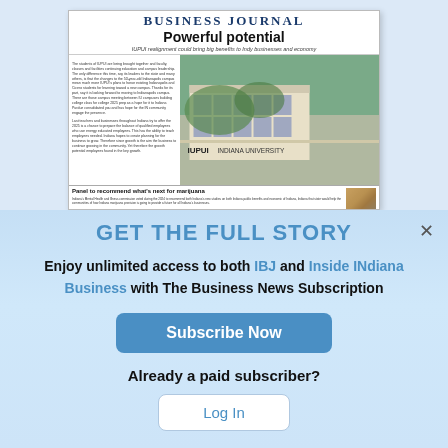[Figure (screenshot): Newspaper front page preview showing 'Business Journal' masthead, headline 'Powerful potential', subheadline 'IUPUI realignment could bring big benefits to Indy businesses and economy', photo of IUPUI Indiana University building, and lower story 'Panel to recommend what's next for marijuana']
GET THE FULL STORY
Enjoy unlimited access to both IBJ and Inside INdiana Business with The Business News Subscription
Subscribe Now
Already a paid subscriber?
Log In